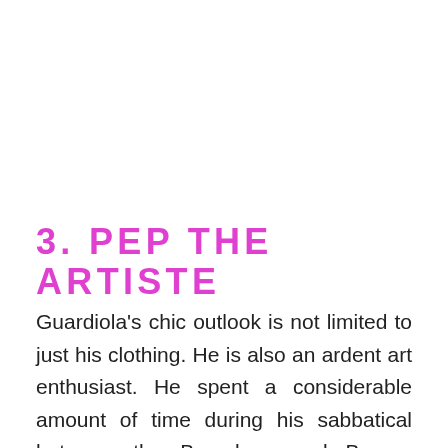3. PEP THE ARTISTE
Guardiola's chic outlook is not limited to just his clothing. He is also an ardent art enthusiast. He spent a considerable amount of time during his sabbatical between the Barcelona and Bayern Munich managerial roles touring the New York art gallery scene. Perhaps we will see him pick up the brush and paints after retirement. Expect a lot of